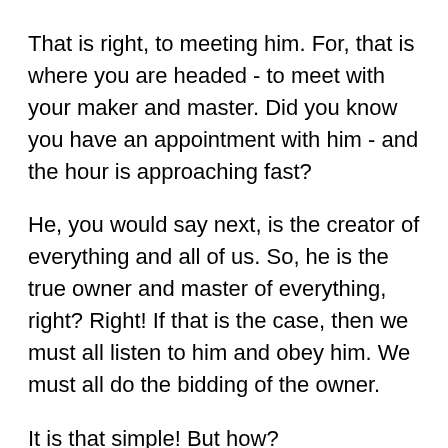That is right, to meeting him. For, that is where you are headed - to meet with your maker and master. Did you know you have an appointment with him - and the hour is approaching fast?
He, you would say next, is the creator of everything and all of us. So, he is the true owner and master of everything, right? Right! If that is the case, then we must all listen to him and obey him. We must all do the bidding of the owner.
It is that simple! But how?
Next question is how do we know what he wants? This is tough. Qur'an says God sends messengers